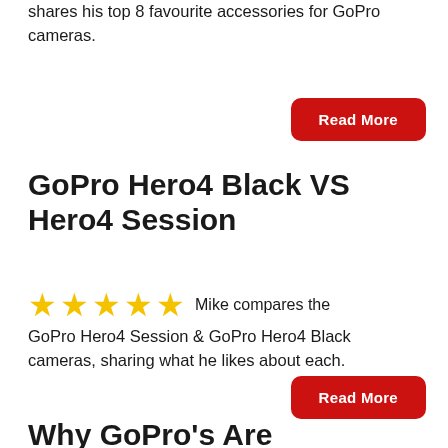shares his top 8 favourite accessories for GoPro cameras.
Read More
GoPro Hero4 Black VS Hero4 Session
★★★★★ Mike compares the GoPro Hero4 Session & GoPro Hero4 Black cameras, sharing what he likes about each.
Read More
Why GoPro's Are